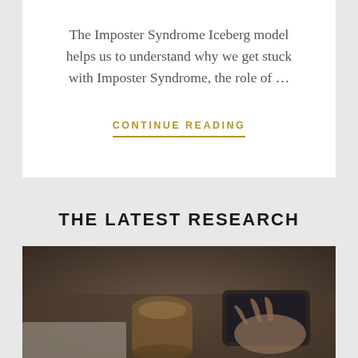The Imposter Syndrome Iceberg model helps us to understand why we get stuck with Imposter Syndrome, the role of ...
CONTINUE READING
THE LATEST RESEARCH
[Figure (photo): A person sitting at a desk with a coffee cup and phone, viewed from above at an angle, in dark warm tones]